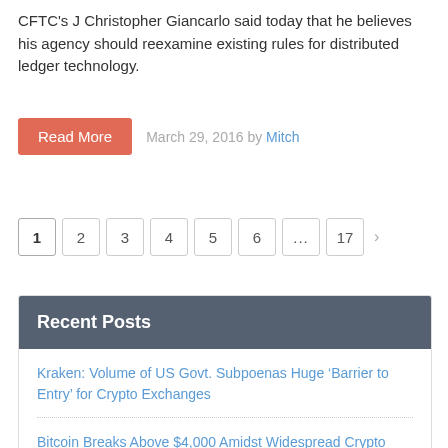CFTC's J Christopher Giancarlo said today that he believes his agency should reexamine existing rules for distributed ledger technology.
Read More   March 29, 2016 by Mitch
1 2 3 4 5 6 ... 17 >
Recent Posts
Kraken: Volume of US Govt. Subpoenas Huge ‘Barrier to Entry’ for Crypto Exchanges
Bitcoin Breaks Above $4,000 Amidst Widespread Crypto Surge
Coinbase De-Platforms Gab While Square Allows Bitcoin Withdrawals